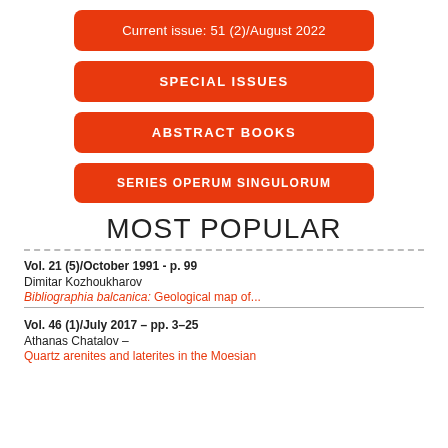Current issue: 51 (2)/August 2022
SPECIAL ISSUES
ABSTRACT BOOKS
SERIES OPERUM SINGULORUM
MOST POPULAR
Vol. 21 (5)/October 1991 - p. 99
Dimitar Kozhoukharov
Bibliographia balcanica: Geological map of...
Vol. 46 (1)/July 2017 - pp. 3-25
Athanas Chatalov –
Quartz arenites and laterites in the Moesian